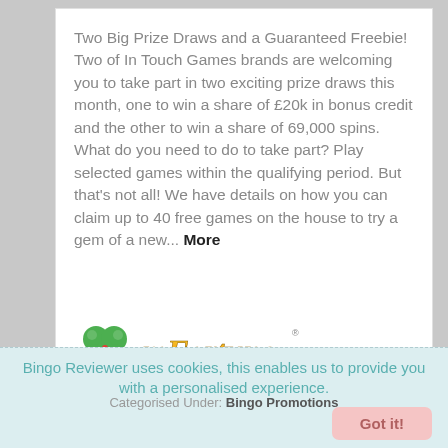Two Big Prize Draws and a Guaranteed Freebie! Two of In Touch Games brands are welcoming you to take part in two exciting prize draws this month, one to win a share of £20k in bonus credit and the other to win a share of 69,000 spins. What do you need to do to take part? Play selected games within the qualifying period. But that's not all! We have details on how you can claim up to 40 free games on the house to try a gem of a new... More
[Figure (logo): mFortune logo with green four-leaf clover icon and stylized gold italic text 'mFortune']
Play This Site
Bingo Reviewer uses cookies, this enables us to provide you with a personalised experience.
Categorised Under: Bingo Promotions